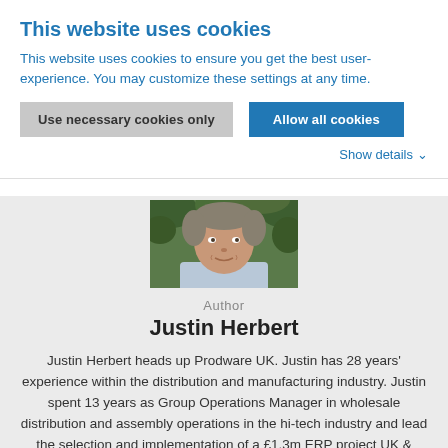This website uses cookies
This website uses cookies to ensure you get the best user-experience. You may customize these settings at any time.
Use necessary cookies only | Allow all cookies
Show details
[Figure (photo): Headshot photo of Justin Herbert, a middle-aged man in a light blue shirt, outdoors with foliage in the background.]
Author
Justin Herbert
Justin Herbert heads up Prodware UK. Justin has 28 years' experience within the distribution and manufacturing industry. Justin spent 13 years as Group Operations Manager in wholesale distribution and assembly operations in the hi-tech industry and lead the selection and implementation of a £1.3m ERP project UK & Europe. Subsequently, he has led 17 …